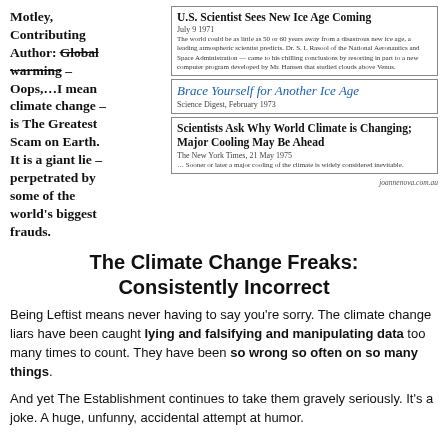Motley, Contributing Author: Global warming – Oops,…I mean climate change – is The Greatest Scam on Earth. It is a giant lie – perpetrated by some of the world's biggest frauds.
[Figure (screenshot): Three newspaper headline clippings: 'U.S. Scientist Sees New Ice Age Coming' (July 9 1971), 'Brace Yourself for Another Ice Age' (Science Digest, February 1973), 'Scientists Ask Why World Climate is Changing; Major Cooling May Be Ahead' (The New York Times, 21 May 1975). Source: joannenova.com.au]
The Climate Change Freaks: Consistently Incorrect
Being Leftist means never having to say you're sorry. The climate change liars have been caught lying and falsifying and manipulating data too many times to count. They have been so wrong so often on so many things.
And yet The Establishment continues to take them gravely seriously. It's a joke. A huge, unfunny, accidental attempt at humor.